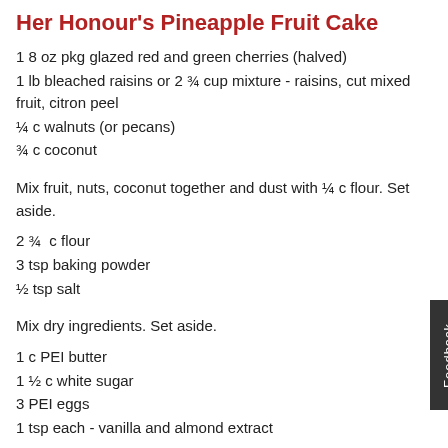Her Honour's Pineapple Fruit Cake
1 8 oz pkg glazed red and green cherries (halved)
1 lb bleached raisins or 2 ¾ cup mixture - raisins, cut mixed fruit, citron peel
¼ c walnuts (or pecans)
¾ c coconut
Mix fruit, nuts, coconut together and dust with ¼ c flour. Set aside.
2 ¾  c flour
3 tsp baking powder
½ tsp salt
Mix dry ingredients. Set aside.
1 c PEI butter
1 ½ c white sugar
3 PEI eggs
1 tsp each - vanilla and almond extract
Cream butter, sugar, eggs and flavouring. Add dry ingredients alternating with 1 cup crushed pineapple, with juice. Fold fruit